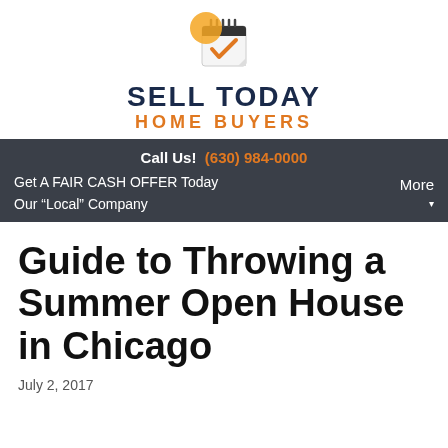[Figure (logo): Sell Today Home Buyers logo: calendar icon with orange checkmark above bold dark blue text SELL TODAY and orange text HOME BUYERS]
Call Us! (630) 984-0000
Get A FAIR CASH OFFER Today
Our “Local” Company
More
Guide to Throwing a Summer Open House in Chicago
July 2, 2017